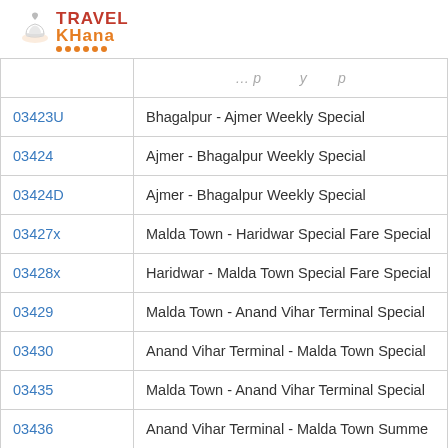[Figure (logo): TravelKhana logo with chef hat icon, red TRAVEL and orange KHANA text with orange dots underline]
| Train No. | Train Name |
| --- | --- |
| 03423U | Bhagalpur - Ajmer Weekly Special |
| 03424 | Ajmer - Bhagalpur Weekly Special |
| 03424D | Ajmer - Bhagalpur Weekly Special |
| 03427x | Malda Town - Haridwar Special Fare Special |
| 03428x | Haridwar - Malda Town Special Fare Special |
| 03429 | Malda Town - Anand Vihar Terminal Special |
| 03430 | Anand Vihar Terminal - Malda Town Special |
| 03435 | Malda Town - Anand Vihar Terminal Special |
| 03436 | Anand Vihar Terminal - Malda Town Summe |
| 03437x | Bhagalpur - Anand Vihar Terminal Spe... |